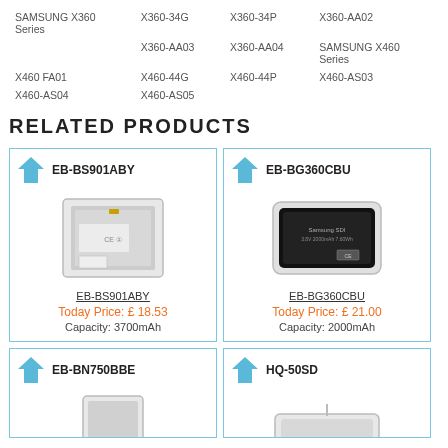| SAMSUNG X360 Series | X360-34G | X360-34P | X360-AA02 |
|  | X360-AA03 | X360-AA04 | SAMSUNG X460 Series |
| X460 FA01 | X460-44G | X460-44P | X460-AS03 |
| X460-AS04 | X460-AS05 |  |  |
RELATED PRODUCTS
[Figure (photo): Product card for EB-BS901ABY battery with upvote arrow icon, product image, underlined model name, orange price, and capacity text. Today Price: £ 18.53, Capacity: 3700mAh]
[Figure (photo): Product card for EB-BG360CBU battery with upvote arrow icon, product image, underlined model name, orange price, and capacity text. Today Price: £ 21.00, Capacity: 2000mAh]
[Figure (photo): Product card for EB-BN750BBE battery with upvote arrow icon and product image (partially visible)]
[Figure (photo): Product card for HQ-50SD battery with upvote arrow icon and product image (partially visible)]